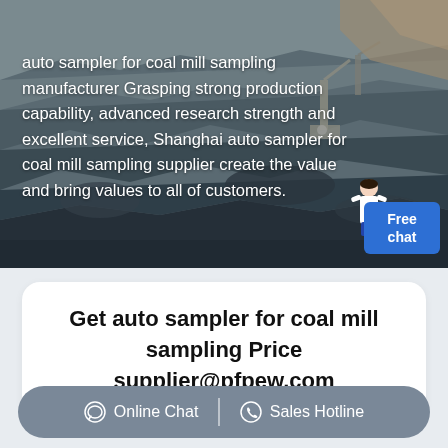[Figure (photo): Aerial view of an open-pit coal mine with heavy machinery and excavation equipment. Dark grey rocky terrain with cranes/equipment visible.]
auto sampler for coal mill sampling manufacturer Grasping strong production capability, advanced research strength and excellent service, Shanghai auto sampler for coal mill sampling supplier create the value and bring values to all of customers.
Get auto sampler for coal mill sampling Price supplier@pfpew.com
Online Chat   Sales Hotline